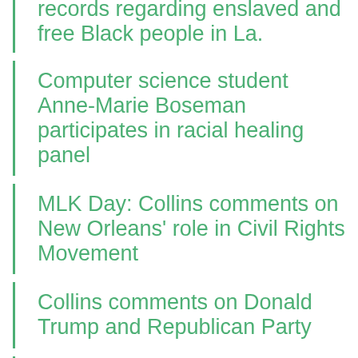records regarding enslaved and free Black people in La.
Computer science student Anne-Marie Boseman participates in racial healing panel
MLK Day: Collins comments on New Orleans' role in Civil Rights Movement
Collins comments on Donald Trump and Republican Party
Dillard joins CEO Roundtable on Cancer's Going for Gold initiative
Alumna X'erona Woods' Kid Millionaire profiled